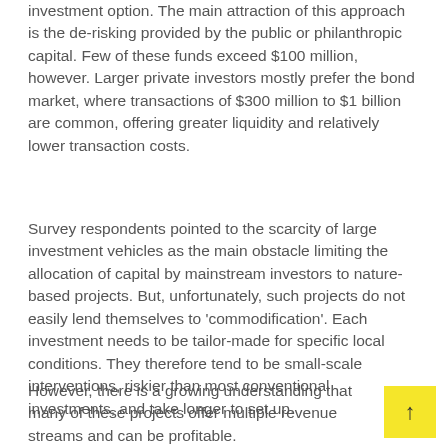investment option. The main attraction of this approach is the de-risking provided by the public or philanthropic capital. Few of these funds exceed $100 million, however. Larger private investors mostly prefer the bond market, where transactions of $300 million to $1 billion are common, offering greater liquidity and relatively lower transaction costs.
Survey respondents pointed to the scarcity of large investment vehicles as the main obstacle limiting the allocation of capital by mainstream investors to nature-based projects. But, unfortunately, such projects do not easily lend themselves to 'commodification'. Each investment needs to be tailor-made for specific local conditions. They therefore tend to be small-scale interventions, riskier than most conventional investments, and take longer to set up.
However, there is a growing understanding that many of these projects offer multiple revenue streams and can be profitable.